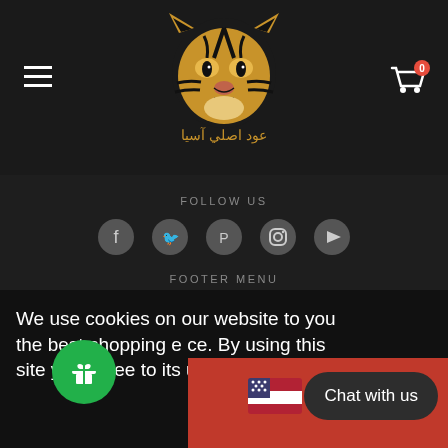[Figure (logo): Tiger head logo in gold color with Arabic text below, on dark background]
FOLLOW US
[Figure (infographic): Social media icons: Facebook, Twitter, Pinterest, Instagram, YouTube]
FOOTER MENU
Search
Privacy Policy
Returns Policy
We use cookies on our website to give you the best shopping experience. By using this site you agree to its use of cookies
Chat with us